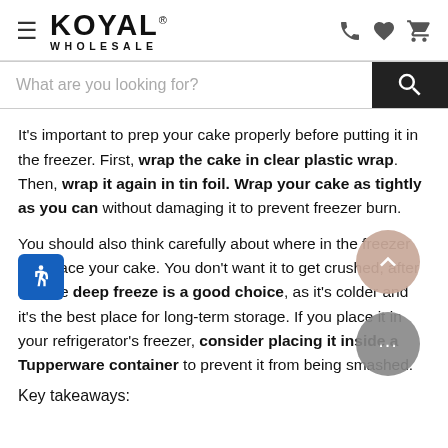KOYAL® WHOLESALE
It's important to prep your cake properly before putting it in the freezer. First, wrap the cake in clear plastic wrap. Then, wrap it again in tin foil. Wrap your cake as tightly as you can without damaging it to prevent freezer burn.
You should also think carefully about where in the freezer you place your cake. You don't want it to get crushed, after all. The deep freeze is a good choice, as it's colder and it's the best place for long-term storage. If you place it in your refrigerator's freezer, consider placing it inside a Tupperware container to prevent it from being smashed.
Key takeaways: